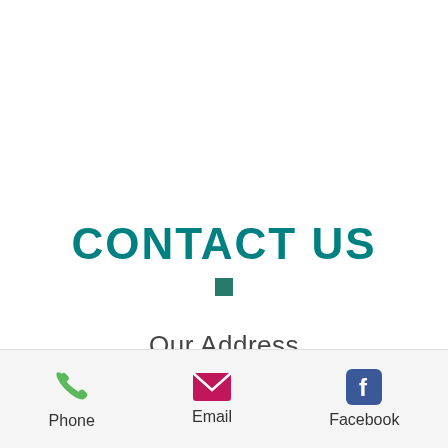CONTACT US
Our Address
[Figure (infographic): Bottom navigation bar with phone, email, and Facebook icons with labels]
Phone
Email
Facebook